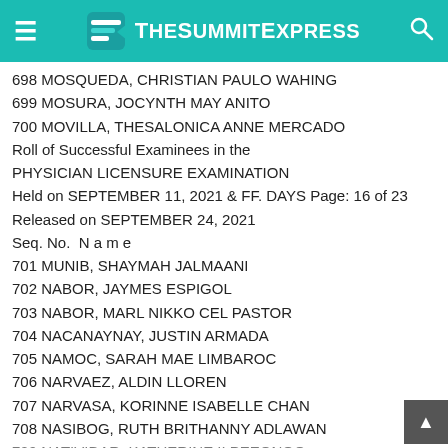TheSummitExpress
698 MOSQUEDA, CHRISTIAN PAULO WAHING
699 MOSURA, JOCYNTH MAY ANITO
700 MOVILLA, THESALONICA ANNE MERCADO
Roll of Successful Examinees in the PHYSICIAN LICENSURE EXAMINATION
Held on SEPTEMBER 11, 2021 & FF. DAYS Page: 16 of 23
Released on SEPTEMBER 24, 2021
Seq. No. N a m e
701 MUNIB, SHAYMAH JALMAANI
702 NABOR, JAYMES ESPIGOL
703 NABOR, MARL NIKKO CEL PASTOR
704 NACANAYNAY, JUSTIN ARMADA
705 NAMOC, SARAH MAE LIMBAROC
706 NARVAEZ, ALDIN LLOREN
707 NARVASA, KORINNE ISABELLE CHAN
708 NASIBOG, RUTH BRITHANNY ADLAWAN
709 NATIVIDAR, KATHERINE II PEEONOO